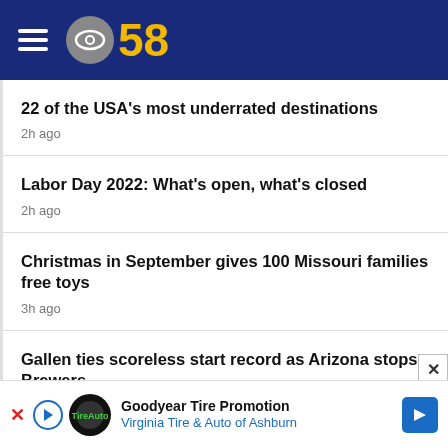CBS 58
22 of the USA's most underrated destinations
2h ago
Labor Day 2022: What's open, what's closed
2h ago
Christmas in September gives 100 Missouri families free toys
3h ago
Gallen ties scoreless start record as Arizona stops Brewers
Goodyear Tire Promotion
Virginia Tire & Auto of Ashburn